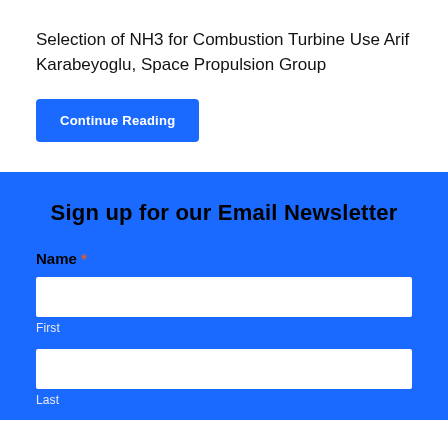Selection of NH3 for Combustion Turbine Use Arif Karabeyoglu, Space Propulsion Group
Continue Reading
Sign up for our Email Newsletter
Name *
First
Last